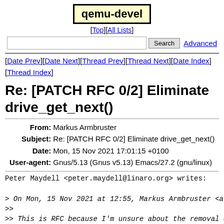qemu-devel
[Top][All Lists]
Search  Advanced
[Date Prev][Date Next][Thread Prev][Thread Next][Date Index][Thread Index]
Re: [PATCH RFC 0/2] Eliminate drive_get_next()
| Field | Value |
| --- | --- |
| From | Markus Armbruster |
| Subject | Re: [PATCH RFC 0/2] Eliminate drive_get_next() |
| Date | Mon, 15 Nov 2021 17:01:15 +0100 |
| User-agent | Gnus/5.13 (Gnus v5.13) Emacs/27.2 (gnu/linux) |
Peter Maydell <peter.maydell@linaro.org> writes:

> On Mon, 15 Nov 2021 at 12:55, Markus Armbruster <armbruster...
>>
>> This is RFC because I'm unsure about the removal of
>>
>>     /* Reason: init() method uses drive_get_next() */